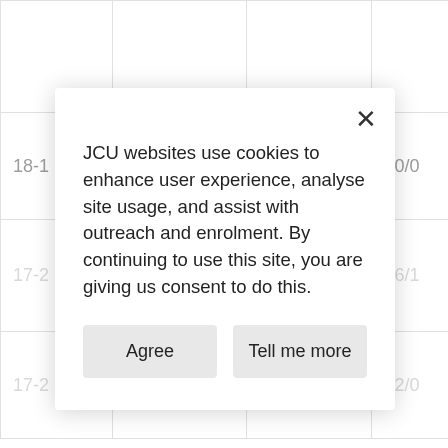|  |  |  |  |
| 18-1 | 17/08/2018 |  | 20/0 |
|  |  |  |  |
| 17-2 | 07/09/2017 |  | 22/0 |
JCU websites use cookies to enhance user experience, analyse site usage, and assist with outreach and enrolment. By continuing to use this site, you are giving us consent to do this.